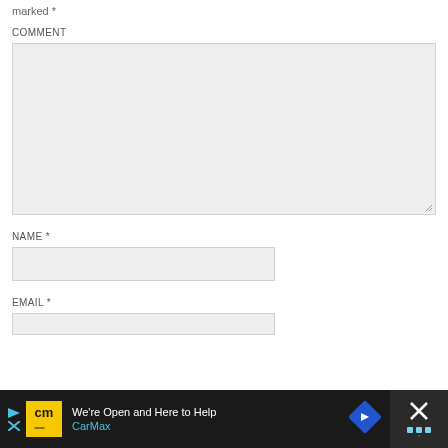marked *
COMMENT
[Figure (screenshot): Comment textarea input field (empty, light gray background with resize handle)]
NAME *
[Figure (screenshot): Name text input field (empty, light gray background)]
EMAIL *
[Figure (screenshot): Email text input field (empty, light gray background, partially visible)]
[Figure (screenshot): CarMax advertisement banner at the bottom: dark background with CarMax logo, text 'We're Open and Here to Help', CarMax brand name in cyan, navigation icon, and close button with X]